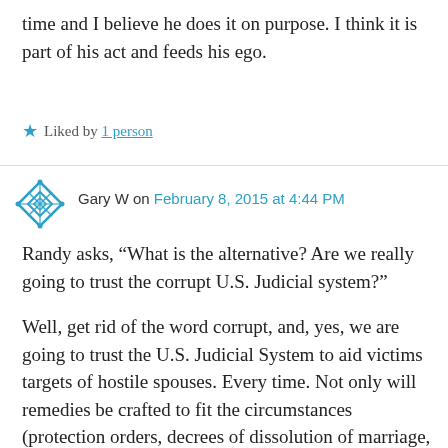time and I believe he does it on purpose. I think it is part of his act and feeds his ego.
★ Liked by 1 person
Gary W on February 8, 2015 at 4:44 PM
Randy asks, “What is the alternative? Are we really going to trust the corrupt U.S. Judicial system?”
Well, get rid of the word corrupt, and, yes, we are going to trust the U.S. Judicial System to aid victims targets of hostile spouses. Every time. Not only will remedies be crafted to fit the circumstances (protection orders, decrees of dissolution of marriage, maintenance and